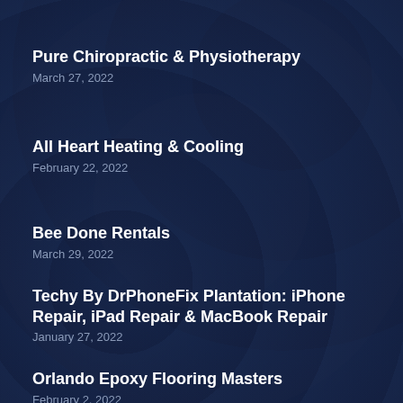Pure Chiropractic & Physiotherapy
March 27, 2022
All Heart Heating & Cooling
February 22, 2022
Bee Done Rentals
March 29, 2022
Techy By DrPhoneFix Plantation: iPhone Repair, iPad Repair & MacBook Repair
January 27, 2022
Orlando Epoxy Flooring Masters
February 2, 2022